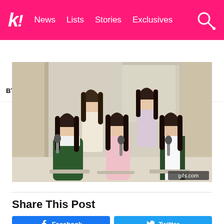k! News  Lists  Stories  Exclusives
BTS  BLACKPINK  TWICE  Girls' Generation  NCT  aespa
[Figure (photo): Five young Korean women (K-pop group) sitting and laughing during what appears to be a press conference or variety show interview. They are holding microphones. Watermark: gifs.com]
Share This Post
Facebook
Twitter